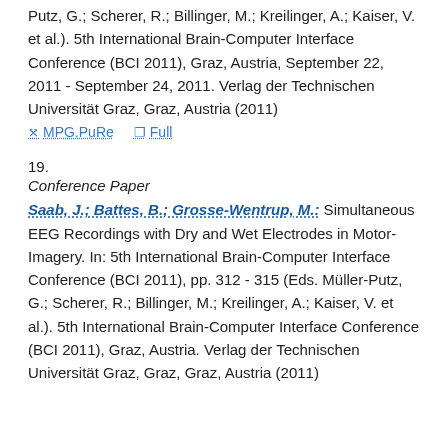Putz, G.; Scherer, R.; Billinger, M.; Kreilinger, A.; Kaiser, V. et al.). 5th International Brain-Computer Interface Conference (BCI 2011), Graz, Austria, September 22, 2011 - September 24, 2011. Verlag der Technischen Universität Graz, Graz, Austria (2011)
MPG.PuRe   Full
19.
Conference Paper
Saab, J.; Battes, B.; Grosse-Wentrup, M.: Simultaneous EEG Recordings with Dry and Wet Electrodes in Motor-Imagery. In: 5th International Brain-Computer Interface Conference (BCI 2011), pp. 312 - 315 (Eds. Müller-Putz, G.; Scherer, R.; Billinger, M.; Kreilinger, A.; Kaiser, V. et al.). 5th International Brain-Computer Interface Conference (BCI 2011), Graz, Austria. Verlag der Technischen Universität Graz, Graz, Graz, Austria (2011)